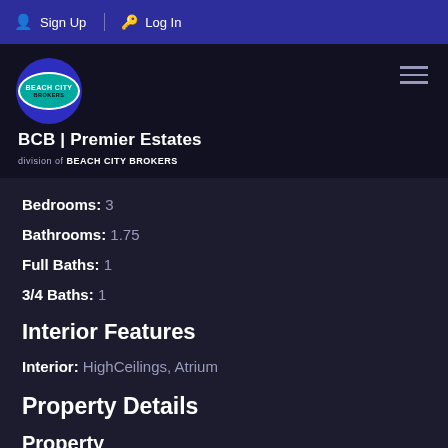Sign Up  Log In
[Figure (logo): Beach City Brokers logo with teal oval, BCB | Premier Estates, division of BEACH CITY BROKERS]
Bedrooms: 3
Bathrooms: 1.75
Full Baths: 1
3/4 Baths: 1
Interior Features
Interior: HighCeilings, Atrium
Property Details
Property
View: GolfCourse